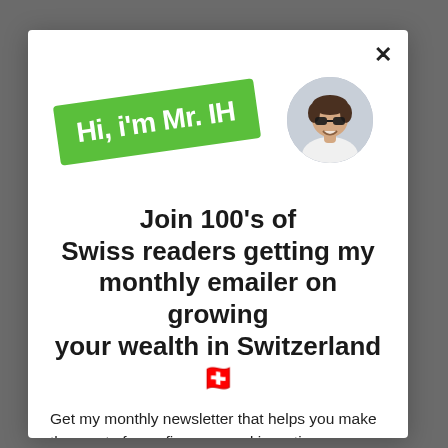[Figure (illustration): Green rotated banner with text 'Hi, i'm Mr. IH' and a circular photo of a smiling man wearing sunglasses]
Join 100's of Swiss readers getting my monthly emailer on growing your wealth in Switzerland 🇨🇭
Get my monthly newsletter that helps you make the most of your finances and investing decisions.